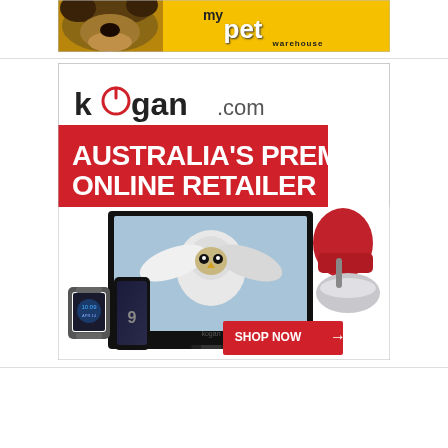[Figure (illustration): My Pet Warehouse advertisement banner with a dog photo on yellow background]
[Figure (illustration): Kogan.com advertisement: 'Australia's Premier Online Retailer' with TV showing owl, smartwatch, Samsung phone, red stand mixer, and SHOP NOW button]